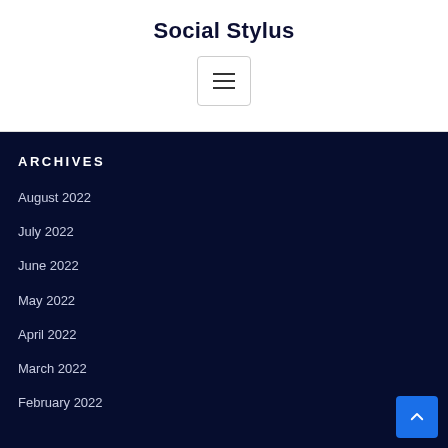Social Stylus
[Figure (other): Hamburger menu button with three horizontal lines inside a bordered box]
ARCHIVES
August 2022
July 2022
June 2022
May 2022
April 2022
March 2022
February 2022